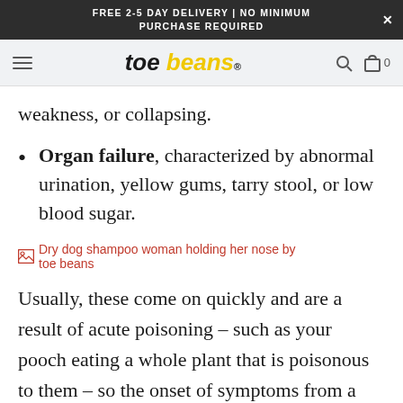FREE 2-5 DAY DELIVERY | NO MINIMUM PURCHASE REQUIRED
[Figure (logo): toe beans logo with hamburger menu, search and cart icons]
weakness, or collapsing.
Organ failure, characterized by abnormal urination, yellow gums, tarry stool, or low blood sugar.
[Figure (photo): Dry dog shampoo woman holding her nose by toe beans]
Usually, these come on quickly and are a result of acute poisoning – such as your pooch eating a whole plant that is poisonous to them – so the onset of symptoms from a